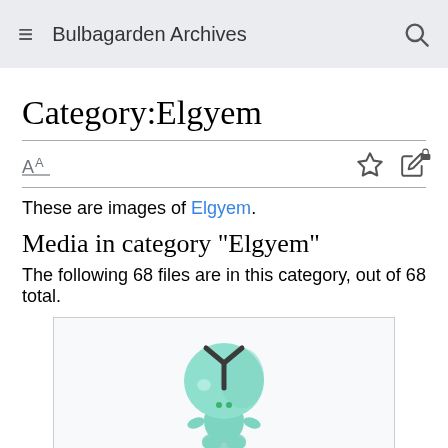Bulbagarden Archives
Category:Elgyem
These are images of Elgyem.
Media in category "Elgyem"
The following 68 files are in this category, out of 68 total.
[Figure (illustration): Elgyem Pokemon illustration — a small teal/mint-colored alien-like creature with a large round head featuring dark Y-shaped markings, visible from the front/side.]